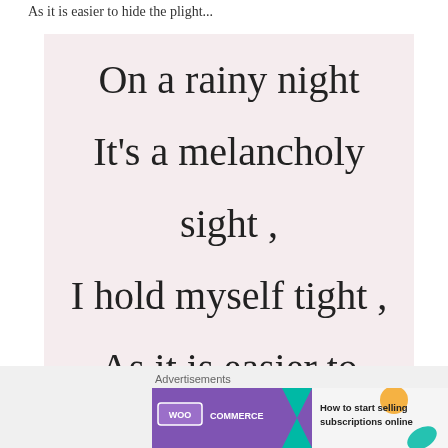As it is easier to hide the plight...
[Figure (illustration): Pink/blush background card with handwritten cursive poem text reading: On a rainy night / It's a melancholy / sight , / I hold myself tight , / As it is easier to]
Advertisements
[Figure (logo): WooCommerce advertisement banner with purple background, WooCommerce logo on left, teal arrow shape, orange/teal decorative elements, text reading: How to start selling subscriptions online]